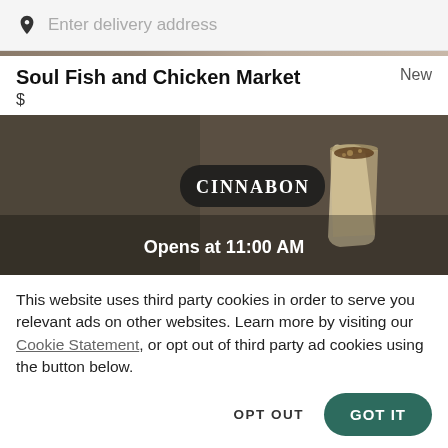Enter delivery address
Soul Fish and Chicken Market
$
[Figure (photo): Cinnabon restaurant banner image showing Cinnabon logo and a drink cup, with overlay text 'Opens at 11:00 AM']
This website uses third party cookies in order to serve you relevant ads on other websites. Learn more by visiting our Cookie Statement, or opt out of third party ad cookies using the button below.
OPT OUT
GOT IT